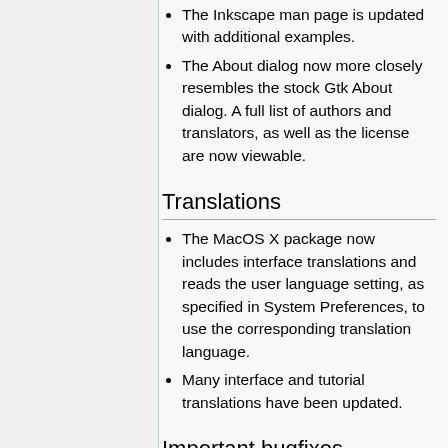The Inkscape man page is updated with additional examples.
The About dialog now more closely resembles the stock Gtk About dialog. A full list of authors and translators, as well as the license are now viewable.
Translations
The MacOS X package now includes interface translations and reads the user language setting, as specified in System Preferences, to use the corresponding translation language.
Many interface and tutorial translations have been updated.
Important bugfixes
A systematic error when scaling